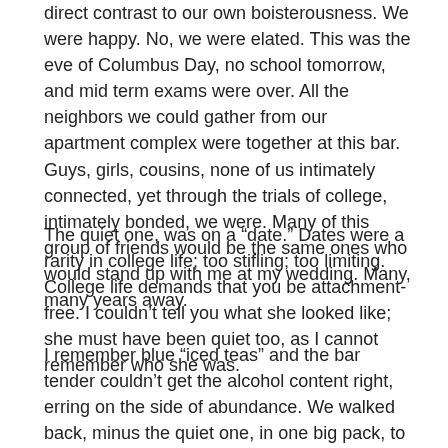direct contrast to our own boisterousness. We were happy. No, we were elated. This was the eve of Columbus Day, no school tomorrow, and mid term exams were over. All the neighbors we could gather from our apartment complex were together at this bar. Guys, girls, cousins, none of us intimately connected, yet through the trials of college, intimately bonded, we were. Many of this group of friends would be the same ones who would stand up with me at my wedding. Many, many years away.
The quiet one, was on a “date.” Dates were a rarity in college life; too stifling; too limiting. College life demands that you be attachment-free. I couldn’t tell you what she looked like; she must have been quiet too, as I cannot remember who she was.
I remember blue “iced teas” and the bar tender couldn’t get the alcohol content right, erring on the side of abundance. We walked back, minus the quiet one, in one big pack, to one central apartment to pool our dollars together to order pizzas. The night was freezing. We, the girls, pulled our coats as tight around our waists as we could, yet the air was still bitter. The guys never